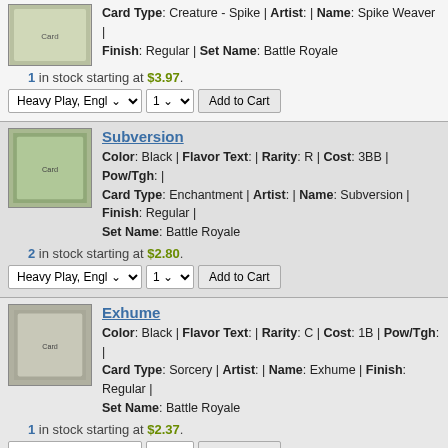Card Type: Creature - Spike | Artist: | Name: Spike Weaver | Finish: Regular | Set Name: Battle Royale
1 in stock starting at $3.97.
Heavy Play, Engl | 1 | Add to Cart
Subversion
Color: Black | Flavor Text: | Rarity: R | Cost: 3BB | Pow/Tgh: | Card Type: Enchantment | Artist: | Name: Subversion | Finish: Regular | Set Name: Battle Royale
2 in stock starting at $2.80.
Heavy Play, Engl | 1 | Add to Cart
Exhume
Color: Black | Flavor Text: | Rarity: C | Cost: 1B | Pow/Tgh: | Card Type: Sorcery | Artist: | Name: Exhume | Finish: Regular | Set Name: Battle Royale
1 in stock starting at $2.37.
Heavy Play, Engl | 1 | Add to Cart
Swords to Plowshares
Color: White | Flavor Text: | Rarity: U | Cost: W | Pow/Tgh: | Card Type: Instant | Artist: | Name: Swords to Plowshares | Finish: Regular | Set Name: Battle Royale
1 in stock starting at $2.25.
Moderate Play, E | 1 | Add to Cart